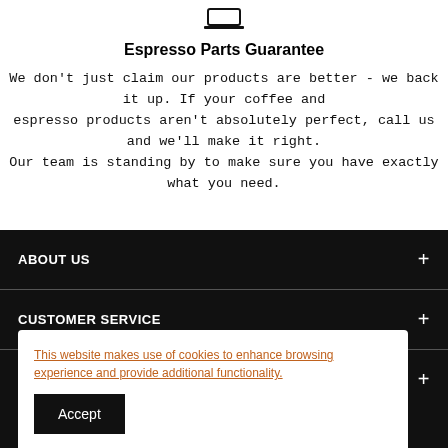[Figure (illustration): Small icon of a laptop/computer at the top of the page]
Espresso Parts Guarantee
We don't just claim our products are better - we back it up. If your coffee and espresso products aren't absolutely perfect, call us and we'll make it right. Our team is standing by to make sure you have exactly what you need.
ABOUT US
CUSTOMER SERVICE
RESOURCES
This website makes use of cookies to enhance browsing experience and provide additional functionality.
Accept
Your email